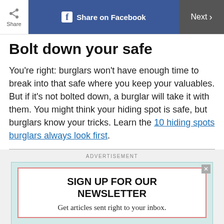Share | Share on Facebook | Next
Bolt down your safe
You're right: burglars won't have enough time to break into that safe where you keep your valuables. But if it's not bolted down, a burglar will take it with them. You might think your hiding spot is safe, but burglars know your tricks. Learn the 10 hiding spots burglars always look first.
[Figure (other): Advertisement banner: Sign up for our newsletter. Get articles sent right to your inbox.]